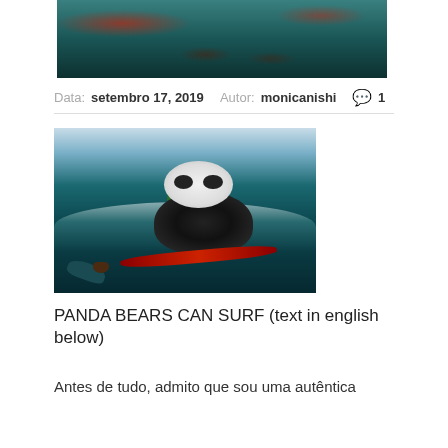[Figure (photo): Partial view of an underwater/ocean scene with reddish objects and teal water, cropped at top of page]
Data: setembro 17, 2019  Autor: monicanishi  💬 1
[Figure (photo): A panda bear surfing on a red surfboard on a large ocean wave, with a small plant and dolphins visible]
PANDA BEARS CAN SURF (text in english below)
Antes de tudo, admito que sou uma autêntica